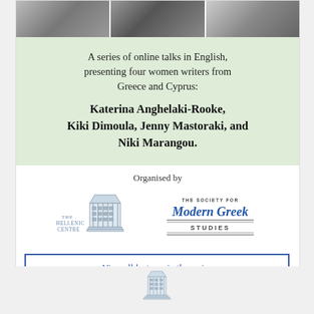[Figure (photo): Black and white photo strip of four women writers]
A series of online talks in English, presenting four women writers from Greece and Cyprus:
Katerina Anghelaki-Rooke, Kiki Dimoula, Jenny Mastoraki, and Niki Marangou.
Organised by
[Figure (logo): The Hellenic Centre logo]
[Figure (logo): The Society for Modern Greek Studies logo]
View all lectures in the series